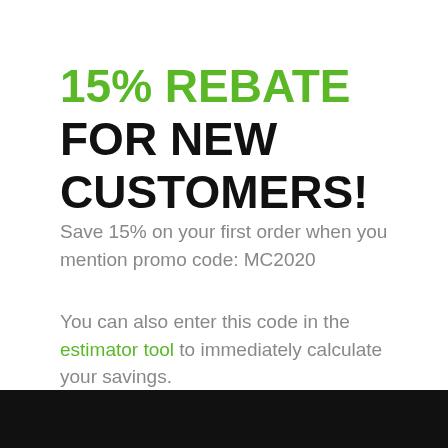15% REBATE FOR NEW CUSTOMERS!
Save 15% on your first order when you mention promo code: MC2020
You can also enter this code in the estimator tool to immediately calculate your savings.
Contact Us